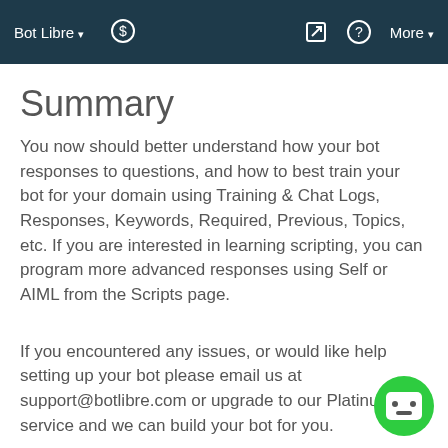Bot Libre ▾   $   ✎   ?   More ▾
Summary
You now should better understand how your bot responses to questions, and how to best train your bot for your domain using Training & Chat Logs, Responses, Keywords, Required, Previous, Topics, etc. If you are interested in learning scripting, you can program more advanced responses using Self or AIML from the Scripts page.
If you encountered any issues, or would like help setting up your bot please email us at support@botlibre.com or upgrade to our Platinum service and we can build your bot for you.
[Figure (illustration): Green circular chat bot icon with a simple robot face (two dots for eyes, small rectangle for mouth) in bottom right corner]